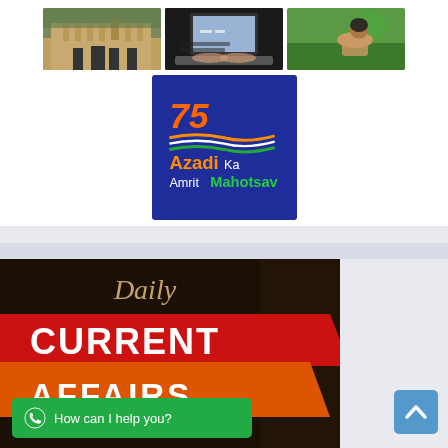[Figure (photo): Three thumbnail images in a row: a historic building/fort, a person using a laptop, and a person relaxing outdoors]
[Figure (logo): Azadi Ka Amrit Mahotsav logo on dark blue background with 75 anniversary mark and Indian flag colors]
[Figure (illustration): Daily Current Affairs banner with italic 'Daily' text above bold 'CURRENT AFFAIRS' text on red and orange diagonal bars over dark book-themed background]
[Figure (other): WhatsApp chat button with green background reading 'How can I help you?' and a scroll-to-top arrow button]